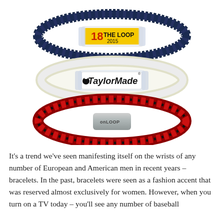[Figure (photo): Three bracelets stacked vertically. Top: dark navy braided bracelet with a yellow rectangular tag reading '18 THE LOOP 2015'. Middle: light/white silicone bracelet with a clear rectangular tag showing the TaylorMade logo. Bottom: red and black braided rope bracelet with a silver metal clasp engraved with 'onLOOP'.]
It's a trend we've seen manifesting itself on the wrists of any number of European and American men in recent years – bracelets. In the past, bracelets were seen as a fashion accent that was reserved almost exclusively for women. However, when you turn on a TV today – you'll see any number of baseball